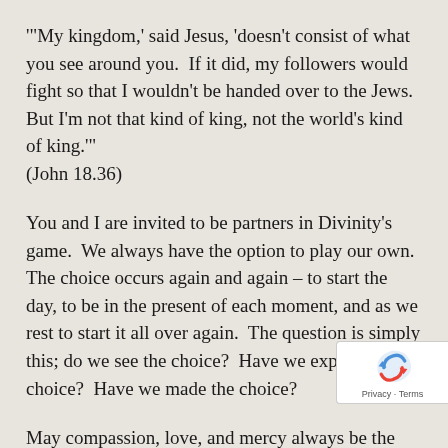'"My kingdom,' said Jesus, 'doesn't consist of what you see around you.  If it did, my followers would fight so that I wouldn't be handed over to the Jews.  But I'm not that kind of king, not the world's kind of king.'"
(John 18.36)
You and I are invited to be partners in Divinity's game.  We always have the option to play our own.  The choice occurs again and again – to start the day, to be in the present of each moment, and as we rest to start it all over again.  The question is simply this; do we see the choice?  Have we explored the choice?  Have we made the choice?
May compassion, love, and mercy always be the choice.